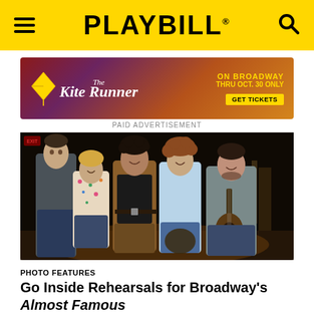PLAYBILL
[Figure (illustration): Paid advertisement banner for The Kite Runner on Broadway, with text: ON BROADWAY THRU OCT. 30 ONLY, GET TICKETS]
PAID ADVERTISEMENT
[Figure (photo): Group photo of five cast members from Almost Famous rehearsals, standing together; one holds a guitar, dark stage background]
PHOTO FEATURES
Go Inside Rehearsals for Broadway's Almost Famous
By Michael Wiltbank | August 30, 2022